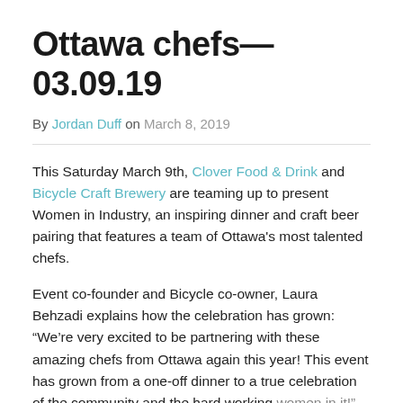Ottawa chefs—03.09.19
By Jordan Duff on March 8, 2019
This Saturday March 9th, Clover Food & Drink and Bicycle Craft Brewery are teaming up to present Women in Industry, an inspiring dinner and craft beer pairing that features a team of Ottawa's most talented chefs.
Event co-founder and Bicycle co-owner, Laura Behzadi explains how the celebration has grown: “We’re very excited to be partnering with these amazing chefs from Ottawa again this year! This event has grown from a one-off dinner to a true celebration of the community and the hard working women in it!"